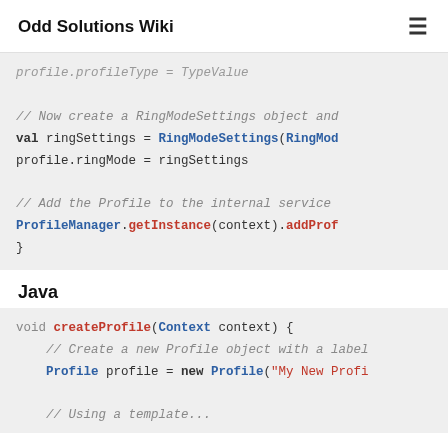Odd Solutions Wiki
[Figure (screenshot): Kotlin code block (partial, cropped): comment '// Now create a RingModeSettings object and', val ringSettings = RingModeSettings(RingMod..., profile.ringMode = ringSettings, comment '// Add the Profile to the internal service', ProfileManager.getInstance(context).addProf..., closing brace]
Java
[Figure (screenshot): Java code block (partial): void createProfile(Context context) {, comment '// Create a new Profile object with a label', Profile profile = new Profile("My New Profi..., comment '// Using a template...' (cropped)]